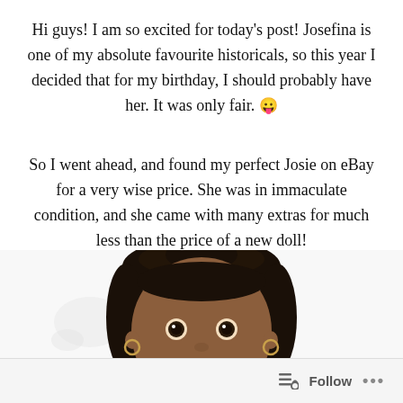Hi guys! I am so excited for today's post! Josefina is one of my absolute favourite historicals, so this year I decided that for my birthday, I should probably have her. It was only fair. 😛
So I went ahead, and found my perfect Josie on eBay for a very wise price. She was in immaculate condition, and she came with many extras for much less than the price of a new doll!
[Figure (photo): Close-up photo of an American Girl doll (Josefina) with dark hair pulled back, brown skin, dark eyes, and small hoop earrings, against a white background.]
Follow ...